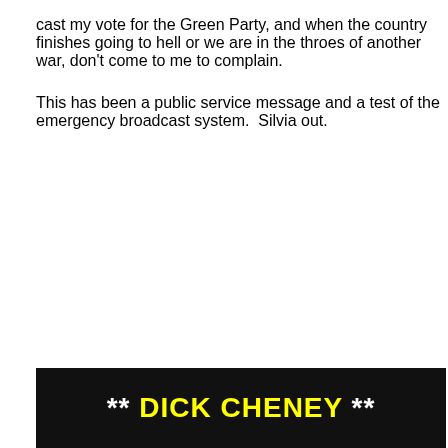cast my vote for the Green Party, and when the country finishes going to hell or we are in the throes of another war, don't come to me to complain.

This has been a public service message and a test of the emergency broadcast system.  Silvia out.
[Figure (photo): Dark photo of a person with overlaid text '** DICK CHENEY **' in yellow bold font on a black background]